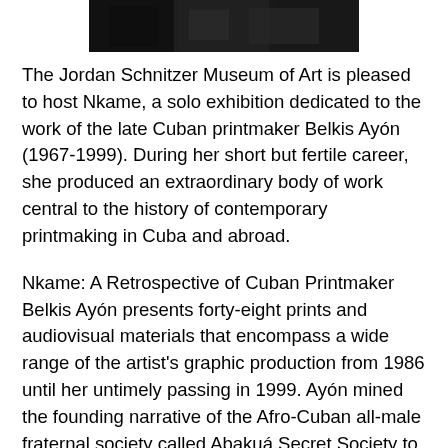[Figure (photo): Dark photograph or image, partially visible at top of page, showing a dark scene with figures or objects indistinct against a dark background.]
The Jordan Schnitzer Museum of Art is pleased to host Nkame, a solo exhibition dedicated to the work of the late Cuban printmaker Belkis Ayón (1967-1999). During her short but fertile career, she produced an extraordinary body of work central to the history of contemporary printmaking in Cuba and abroad.
Nkame: A Retrospective of Cuban Printmaker Belkis Ayón presents forty-eight prints and audiovisual materials that encompass a wide range of the artist's graphic production from 1986 until her untimely passing in 1999. Ayón mined the founding narrative of the Afro-Cuban all-male fraternal society called Abakuá Secret Society to create an independent and powerful visual iconography. She is highly regarded for her signature technique of collagraphy, a printing process in which a variety of materials are